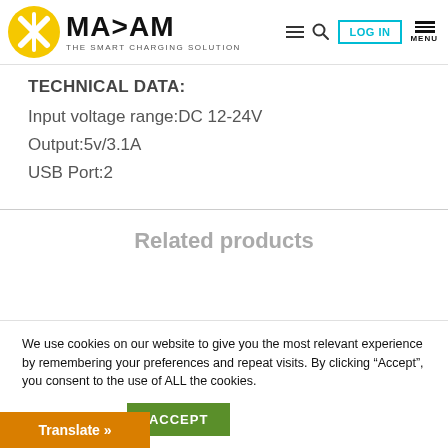[Figure (logo): Maxam logo with yellow circle, X icon, brand name MAXAM and tagline THE SMART CHARGING SOLUTION, plus header navigation icons (hamburger menu, search, LOG IN button, menu with MENU label)]
TECHNICAL DATA:
Input voltage range:DC 12-24V
Output:5v/3.1A
USB Port:2
Related products
We use cookies on our website to give you the most relevant experience by remembering your preferences and repeat visits. By clicking “Accept”, you consent to the use of ALL the cookies.
Cookie settings | ACCEPT
Translate »